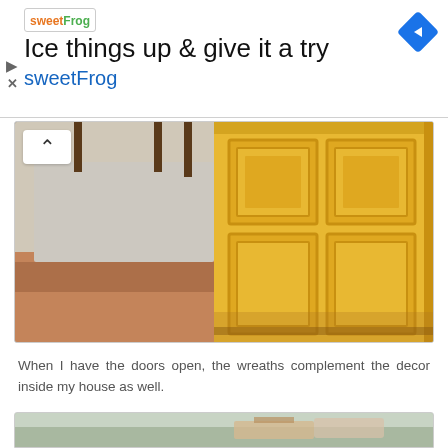[Figure (other): Advertisement banner for sweetFrog frozen yogurt: 'Ice things up & give it a try' with sweetFrog branding, logo, and navigation arrow diamond icon]
[Figure (photo): Photo of a yellow painted interior door with raised panel design, showing interior floor and wall in background, with a chevron/up arrow button overlay]
When I have the doors open, the wreaths complement the decor inside my house as well.
Plus they make me smile!  :)
[Figure (photo): Partial photo of an interior room showing ceiling, a lamp or light fixture with a floral shade, and green-gray walls]